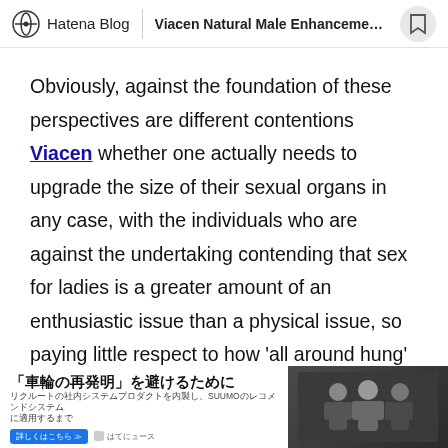Hatena Blog | Viacen Natural Male Enhancement...
Obviously, against the foundation of these perspectives are different contentions Viacen whether one actually needs to upgrade the size of their sexual organs in any case, with the individuals who are against the undertaking contending that sex for ladies is a greater amount of an enthusiastic issue than a physical issue, so paying little respect to how 'all around hung' one is down there, the lady will just think about whether he appears to love and think about her or not. The advocates of male improvement, then again, offer the elective view that while sex for ladies may be a greater amount of an
[Figure (screenshot): Advertisement banner in Japanese at the bottom of the page, with text and a photo of people on the right side.]